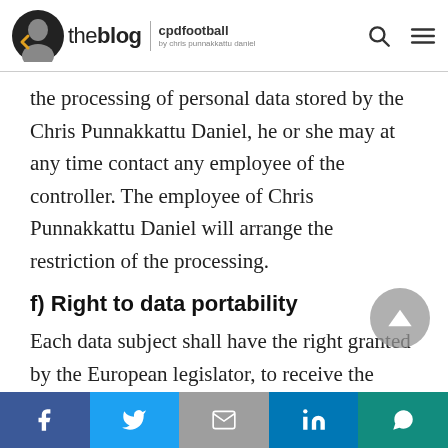the blog | cpdfootball
the processing of personal data stored by the Chris Punnakkattu Daniel, he or she may at any time contact any employee of the controller. The employee of Chris Punnakkattu Daniel will arrange the restriction of the processing.
f) Right to data portability
Each data subject shall have the right granted by the European legislator, to receive the personal data concerning him or her, which was provided to a controller, in a structured, commonly used and
Share buttons: Facebook, Twitter, Gmail, LinkedIn, WhatsApp